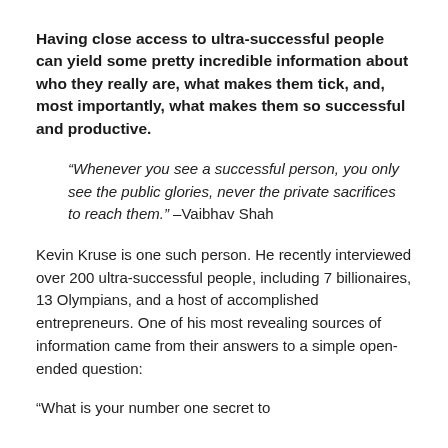Having close access to ultra-successful people can yield some pretty incredible information about who they really are, what makes them tick, and, most importantly, what makes them so successful and productive.
“Whenever you see a successful person, you only see the public glories, never the private sacrifices to reach them.” –Vaibhav Shah
Kevin Kruse is one such person. He recently interviewed over 200 ultra-successful people, including 7 billionaires, 13 Olympians, and a host of accomplished entrepreneurs. One of his most revealing sources of information came from their answers to a simple open-ended question:
“What is your number one secret to productivity?”